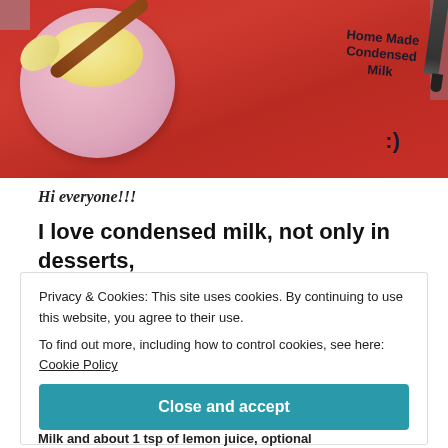[Figure (photo): Photo of a pink bowl containing condensed milk with a wooden spoon, placed on a red cloth/napkin that has 'Home Made Condensed Milk' written on it in marker, with a marker pen visible in the upper right corner.]
Hi everyone!!!
I love condensed milk, not only in desserts,
Privacy & Cookies: This site uses cookies. By continuing to use this website, you agree to their use.
To find out more, including how to control cookies, see here: Cookie Policy
Close and accept
Milk and about 1 tsp of lemon juice, optional